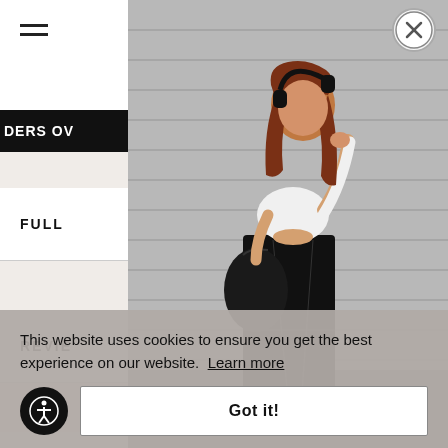[Figure (screenshot): E-commerce product page screenshot showing a woman with red hair wearing a white crop top and black maxi parachute skirt, holding a black bag and wearing headphones, standing in front of a metal shutter. The page has navigation elements including a hamburger menu and bag icon, a black promotional banner partially showing 'DERS OV', and accordion sections for FULL, REVIE, and SIZE with plus icons. A cookie consent banner overlays the bottom of the page with text and a 'Got it!' button.]